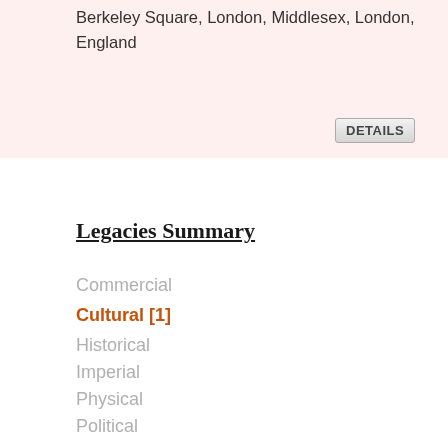Berkeley Square, London, Middlesex, London, England
Legacies Summary
Commercial
Cultural [1]
Historical
Imperial
Physical
Political
Other Information
Relationships [1]
Addresses [1]
Inventories